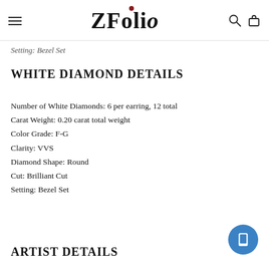ZFolio
Setting: Bezel Set
WHITE DIAMOND DETAILS
Number of White Diamonds: 6 per earring, 12 total
Carat Weight: 0.20 carat total weight
Color Grade: F-G
Clarity: VVS
Diamond Shape: Round
Cut: Brilliant Cut
Setting: Bezel Set
ARTIST DETAILS